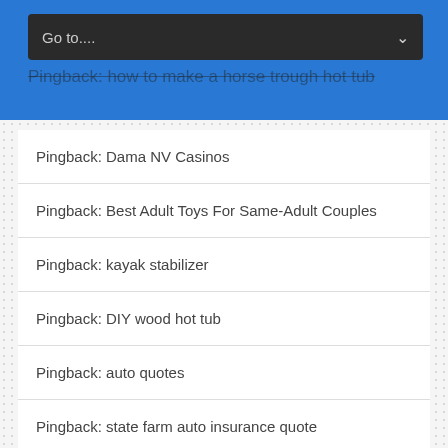[Figure (screenshot): Blue header bar with dark dropdown selector showing 'Go to...' and a chevron arrow]
Pingback: how to make a horse trough hot tub
Pingback: Dama NV Casinos
Pingback: Best Adult Toys For Same-Adult Couples
Pingback: kayak stabilizer
Pingback: DIY wood hot tub
Pingback: auto quotes
Pingback: state farm auto insurance quote
Pingback: esurance quote online
Pingback: hijab